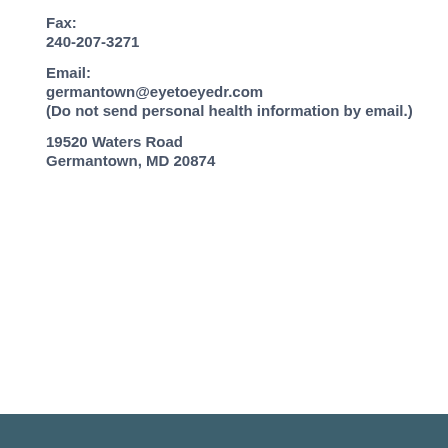Fax:
240-207-3271
Email:
germantown@eyetoeyedr.com
(Do not send personal health information by email.)
19520 Waters Road
Germantown, MD 20874